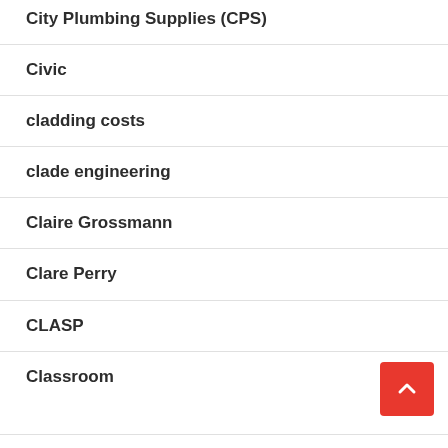City Plumbing Supplies (CPS)
Civic
cladding costs
clade engineering
Claire Grossmann
Clare Perry
CLASP
Classroom
Cl...